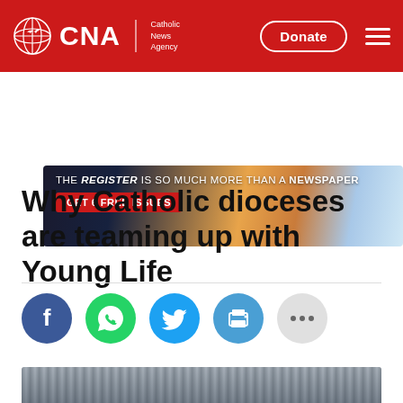CNA | Catholic News Agency — Donate
[Figure (infographic): Advertisement banner: THE REGISTER IS SO MUCH MORE THAN A NEWSPAPER — GET 6 FREE ISSUES]
Why Catholic dioceses are teaming up with Young Life
[Figure (infographic): Social sharing buttons: Facebook, WhatsApp, Twitter, Print, More (...)]
[Figure (photo): Partial photo of a person at bottom of page, with curtain/drape background]